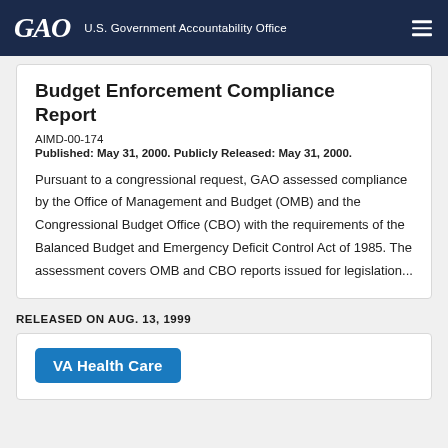GAO  U.S. Government Accountability Office
Budget Enforcement Compliance Report
AIMD-00-174
Published: May 31, 2000. Publicly Released: May 31, 2000.
Pursuant to a congressional request, GAO assessed compliance by the Office of Management and Budget (OMB) and the Congressional Budget Office (CBO) with the requirements of the Balanced Budget and Emergency Deficit Control Act of 1985. The assessment covers OMB and CBO reports issued for legislation...
RELEASED ON AUG. 13, 1999
VA Health Care